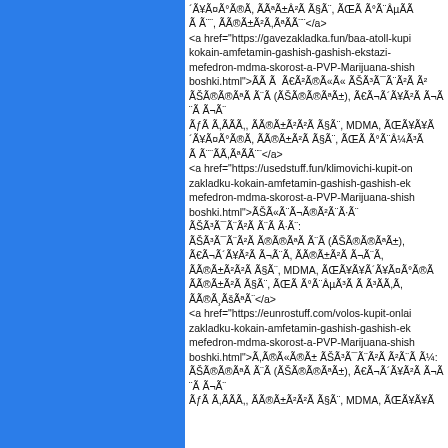´Ã¥Ã¤Ã°Ã®Ã, ÃÃªÃ±Â²Ã Ã§Ã¨, ÃŒÃ Ã°Ã¨Ã¼Ã Ã¨¨, ÃÃ®Ã¸ÃªÃ¨</a> <a href="https://gavezakladka.fun/baa-atoll-kupit-kokain-amfetamin-gashish-gashish-ekstazi-mefedron-mdma-skorost-a-PVP-Marijuana-shishki-boshki.html">ÃÃ Ã, Ã€Ã²Ã®Ã«Ã« ÃŠÃ³Ã¯Ã¨Ã²Ã ÃŠÃ®Ã®ÃªÃ Ã¨Ã (ÃŠÃ®Ã®ÃªÃ±), Ã€Ã¬Ã´Ã¥Ã²Ã Ã¬Ã¨Ã Ã, ÃÃ®Ã±Ã²Ã Ã§Ã¨, MDMA, ÃŒÃ¥Ã´Ã¥Ã¤Ã°Ã®Ã, ÃÃ®Ã±Ã²Ã Ã§Ã¨, ÃŒÃ Ã°Ã¨Ã¼Ã³Ã Ã Ã¨¨, ÃÃ®Ã¸ÃªÃ¨</a> <a href="https://usedstuff.fun/klimovichi-kupit-onlain-zakladku-kokain-amfetamin-gashish-gashish-ekstazi-mefedron-mdma-skorost-a-PVP-Marijuana-shishki-boshki.html">ÃŠÃ«Ã¨Ã¬Ã®Ã²Ã¨Ã·Ã¨: ÃŠÃ®Ã®ÃªÃ Ã¨Ã (ÃŠÃ®Ã®ÃªÃ±), Ã€Ã¬Ã´Ã¥Ã²Ã Ã¬Ã¨Ã, ÃÃ®Ã±Ã²Ã Ã§Ã¨, MDMA, ÃŒÃ¥Ã´Ã¥Ã¤Ã°Ã®Ã, ÃÃ®Ã±Ã²Ã Ã§Ã¨, ÃŒÃ Ã°Ã¨Ã¼Ã³Ã Ã Ã¨¨, ÃÃ®Ã¸ÃªÃ¨</a> <a href="https://eunrostuff.com/volos-kupit-onlain-zakladku-kokain-amfetamin-gashish-gashish-ekstazi-mefedron-mdma-skorost-a-PVP-Marijuana-shishki-boshki.html">Ã,Ã®Ã«Ã®Ã± ÃŠÃ³Ã¯Ã¨Ã²Ã Ã¨ÃÂ¼: ÃŠÃ®Ã®ÃªÃ Ã¨Ã (ÃŠÃ®Ã®ÃªÃ±), Ã€Ã¬Ã´Ã¥Ã²Ã Ã¬Ã¨Ã, ÃÃ®Ã±Ã²Ã Ã§Ã¨, MDMA, ÃŒÃ¥Ã´